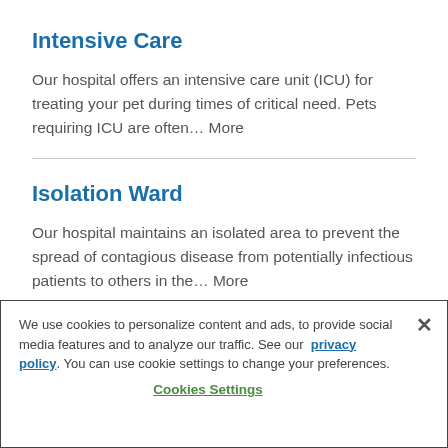Intensive Care
Our hospital offers an intensive care unit (ICU) for treating your pet during times of critical need. Pets requiring ICU are often… More
Isolation Ward
Our hospital maintains an isolated area to prevent the spread of contagious disease from potentially infectious patients to others in the… More
We use cookies to personalize content and ads, to provide social media features and to analyze our traffic. See our privacy policy. You can use cookie settings to change your preferences. Cookies Settings